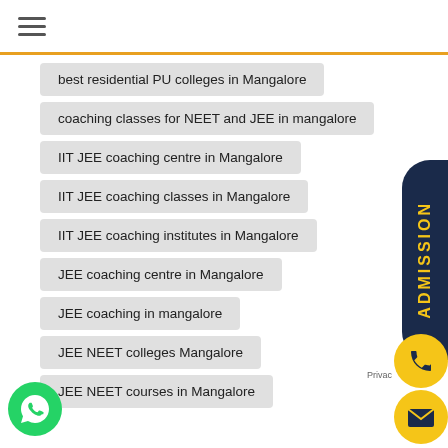≡
best residential PU colleges in Mangalore
coaching classes for NEET and JEE in mangalore
IIT JEE coaching centre in Mangalore
IIT JEE coaching classes in Mangalore
IIT JEE coaching institutes in Mangalore
JEE coaching centre in Mangalore
JEE coaching in mangalore
JEE NEET colleges Mangalore
JEE NEET courses in Mangalore